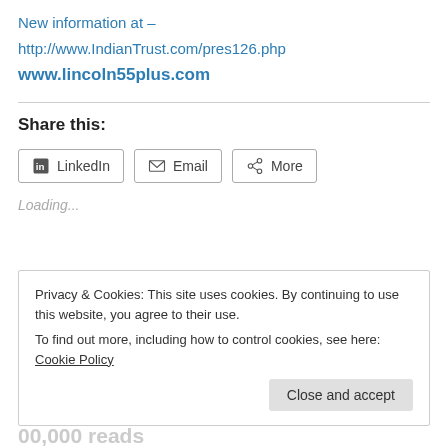New information at – http://www.IndianTrust.com/pres126.php
www.lincoln55plus.com
Share this:
LinkedIn   Email   More
Loading...
Privacy & Cookies: This site uses cookies. By continuing to use this website, you agree to their use.
To find out more, including how to control cookies, see here: Cookie Policy
Close and accept